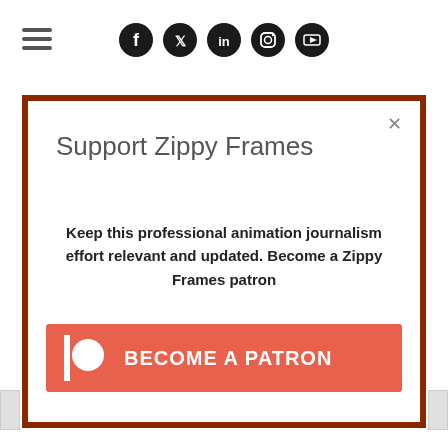[Figure (screenshot): Navigation bar with hamburger menu icon on the left and social media icons (Facebook, Twitter, LinkedIn, Instagram, YouTube) centered at top]
Support Zippy Frames
Keep this professional animation journalism effort relevant and updated. Become a Zippy Frames patron
[Figure (other): Patreon button with Patreon logo and text BECOME A PATRON on coral/salmon background]